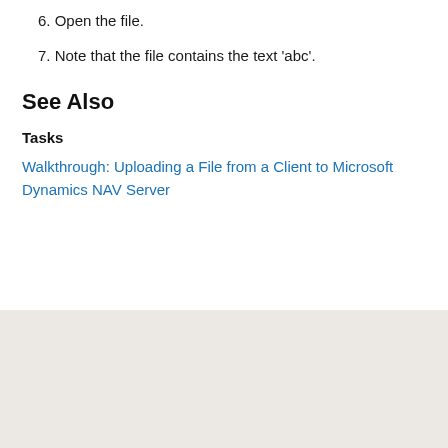6. Open the file.
7. Note that the file contains the text 'abc'.
See Also
Tasks
Walkthrough: Uploading a File from a Client to Microsoft Dynamics NAV Server
🌐 English (United States)   ✳ Theme   Previous Version Docs   Blog   Contribute